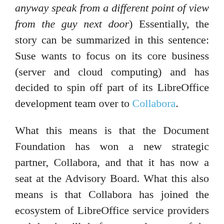anyway speak from a different point of view from the guy next door) Essentially, the story can be summarized in this sentence: Suse wants to focus on its core business (server and cloud computing) and has decided to spin off part of its LibreOffice development team over to Collabora.
What this means is that the Document Foundation has won a new strategic partner, Collabora, and that it has now a seat at the Advisory Board. What this also means is that Collabora has joined the ecosystem of LibreOffice service providers and that it will de facto stand as one of the very best companies making money on LibreOffice. Of course this does not automatically ensure their business success, this is why we wish them all the best.